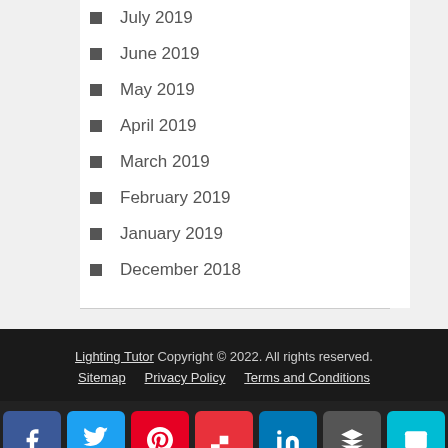July 2019
June 2019
May 2019
April 2019
March 2019
February 2019
January 2019
December 2018
Lighting Tutor Copyright © 2022. All rights reserved. Sitemap  Privacy Policy  Terms and Conditions